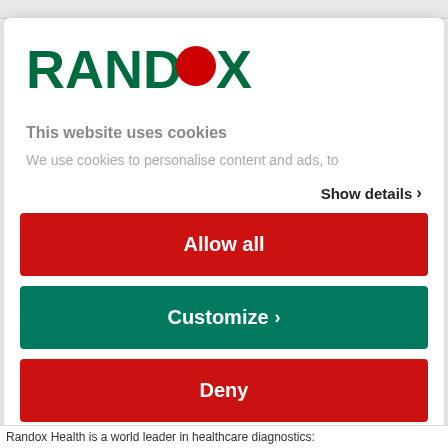[Figure (logo): RANDOX logo in dark green bold text with a red dot replacing the letter O]
This website uses cookies
We use cookies to personalise content and ads, to
Show details >
Allow all
Customize >
Deny
Powered by Cookiebot by Usercentrics
Randox Health is a world leader in healthcare diagnostics: